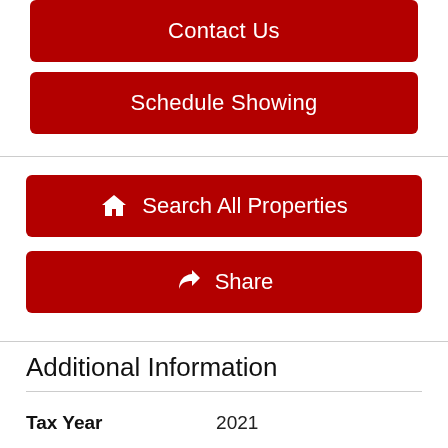[Figure (screenshot): Red button labeled Contact Us]
[Figure (screenshot): Red button labeled Schedule Showing]
[Figure (screenshot): Red button with house icon labeled Search All Properties]
[Figure (screenshot): Red button with share icon labeled Share]
Additional Information
| Tax Year | 2021 |
| Taxes | $811 |
| Hoa | Yes |